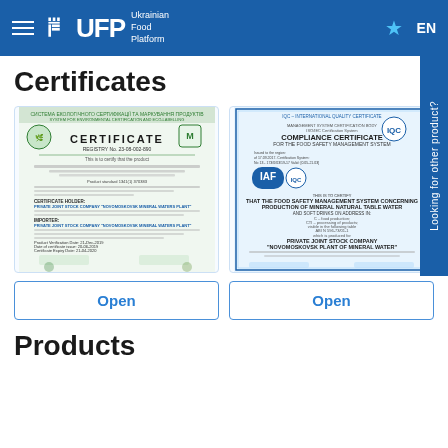UFP – Ukrainian Food Platform
Certificates
[Figure (photo): Environmental certification document – CERTIFICATE with registry number, logos, signatures, and stamps for Novomoskovsk Mineral Waters Plant]
[Figure (photo): IQC Compliance Certificate for Food Safety Management System – HACCP certificate with IAF logo for Private Joint Stock Company Novomoskovsk Plant of Mineral Water]
Open
Open
Products